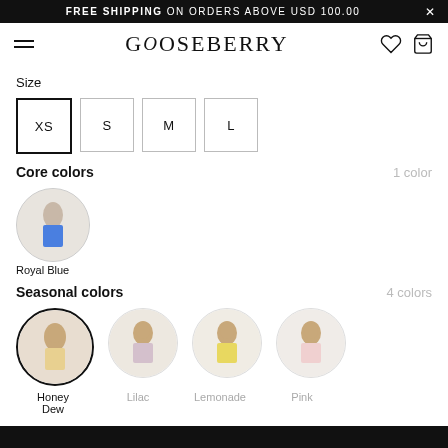FREE SHIPPING ON ORDERS ABOVE USD 100.00
[Figure (logo): GOOSEBERRY brand logo in serif font with hamburger menu icon and heart/bag icons in navigation bar]
Size
XS  S  M  L (size selector buttons)
Core colors    1 color
[Figure (photo): Circular thumbnail of model wearing royal blue bikini, selected with dark border]
Royal Blue
Seasonal colors    4 colors
[Figure (photo): Four circular thumbnails of models in bikinis: Honey Dew (selected, dark border), Lilac, Lemonade, Pink]
Honey Dew   Lilac   Lemonade   Pink